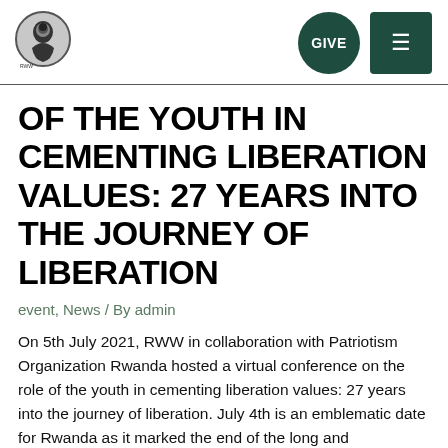[Figure (logo): Organization logo - circular emblem with dark figure on grey background, with text below]
OF THE YOUTH IN CEMENTING LIBERATION VALUES: 27 YEARS INTO THE JOURNEY OF LIBERATION
event, News / By admin
On 5th July 2021, RWW in collaboration with Patriotism Organization Rwanda hosted a virtual conference on the role of the youth in cementing liberation values: 27 years into the journey of liberation. July 4th is an emblematic date for Rwanda as it marked the end of the long and courageous battle to liberate the country. …
Read More »